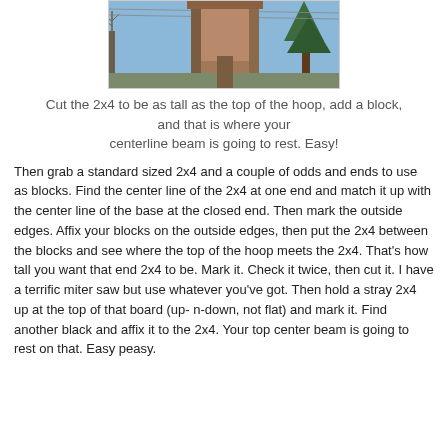[Figure (photo): Photograph of a wooden box/chimney-like structure mounted on a post outdoors, with bare trees and evergreen trees visible in the background against a blue sky.]
Cut the 2x4 to be as tall as the top of the hoop, add a block, and that is where your centerline beam is going to rest. Easy!
Then grab a standard sized 2x4 and a couple of odds and ends to use as blocks. Find the center line of the 2x4 at one end and match it up with the center line of the base at the closed end. Then mark the outside edges. Affix your blocks on the outside edges, then put the 2x4 between the blocks and see where the top of the hoop meets the 2x4. That's how tall you want that end 2x4 to be. Mark it. Check it twice, then cut it. I have a terrific miter saw but use whatever you've got. Then hold a stray 2x4 up at the top of that board (up-n-down, not flat) and mark it. Find another black and affix it to the 2x4. Your top center beam is going to rest on that. Easy peasy.